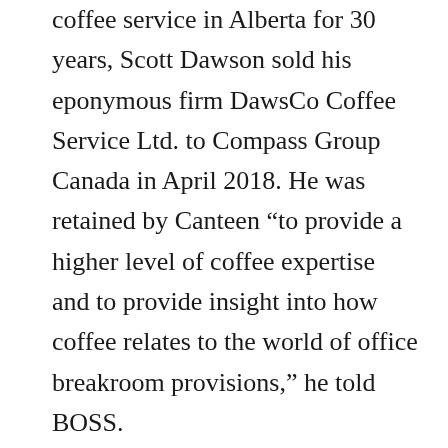coffee service in Alberta for 30 years, Scott Dawson sold his eponymous firm DawsCo Coffee Service Ltd. to Compass Group Canada in April 2018. He was retained by Canteen “to provide a higher level of coffee expertise and to provide insight into how coffee relates to the world of office breakroom provisions,” he told BOSS.
“My 30-plus years of experience enables Canteen to take best practices that myself and my team have developed over the years and either introduce them to or refine them in the branches we acquire. Canteen’s